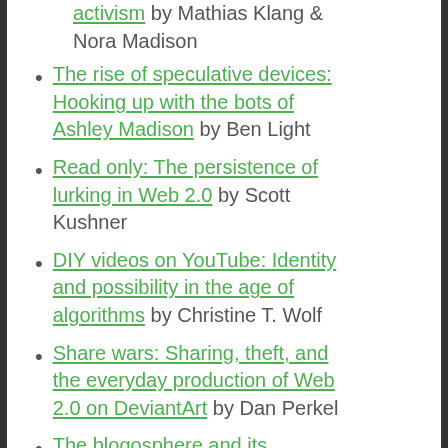activism by Mathias Klang & Nora Madison
The rise of speculative devices: Hooking up with the bots of Ashley Madison by Ben Light
Read only: The persistence of lurking in Web 2.0 by Scott Kushner
DIY videos on YouTube: Identity and possibility in the age of algorithms by Christine T. Wolf
Share wars: Sharing, theft, and the everyday production of Web 2.0 on DeviantArt by Dan Perkel
The blogosphere and its problems: Web 2.0 undermining